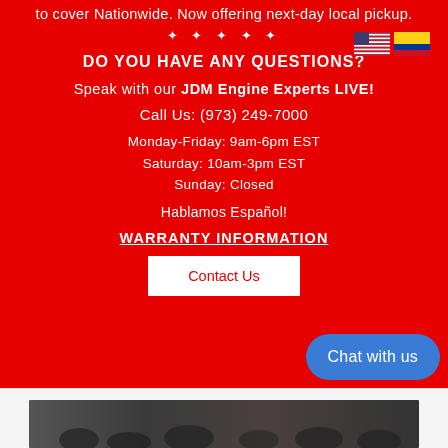to cover Nationwide. Now offering next-day local pickup.
★ ★ ★ ★ ★
DO YOU HAVE ANY QUESTIONS?
Speak with our JDM Engine Experts LIVE!
Call Us: (973) 249-7000
Monday-Friday: 9am-6pm EST
Saturday: 10am-3pm EST
Sunday: Closed
Hablamos Español!
WARRANTY INFORMATION
Contact Us
Chat with us
[Figure (photo): Bottom image area showing people or products in a dark-toned horizontal banner]